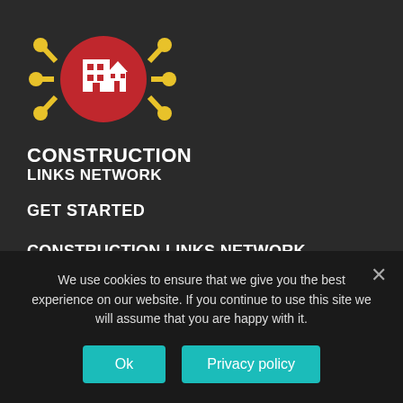[Figure (logo): Construction Links Network logo: red circle with white building/house icons, surrounded by yellow gear/connector icons on a dark background]
CONSTRUCTION
LINKS NETWORK
GET STARTED
CONSTRUCTION LINKS NETWORK
Established in 2003, Construction Links Network is a peer-to-peer content sharing platform for the construction, building and design community. Our network includes thousands of construction managers
We use cookies to ensure that we give you the best experience on our website. If you continue to use this site we will assume that you are happy with it.
Ok
Privacy policy